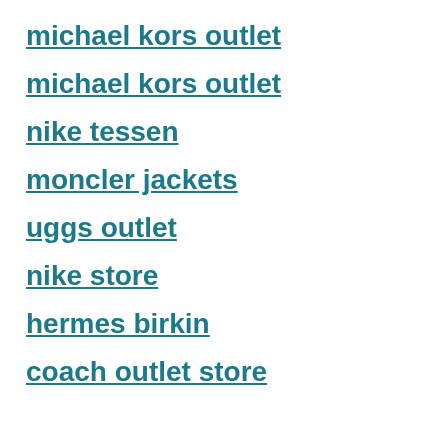michael kors outlet
michael kors outlet
nike tessen
moncler jackets
uggs outlet
nike store
hermes birkin
coach outlet store